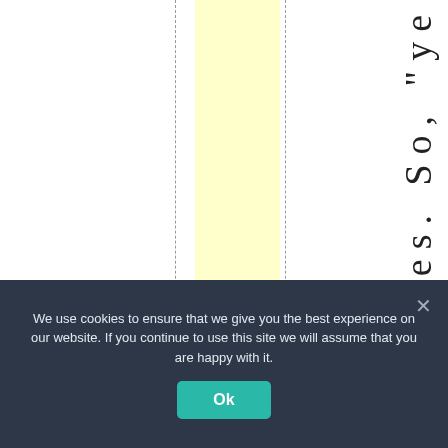[Figure (other): A partial view of a table or chart with a vertical yellow highlighted band and dashed vertical grid lines. Rotated text on the right edge reads 'ngeconomies. So,' followed by 'ye' — part of a longer phrase cut off by page boundaries.]
We use cookies to ensure that we give you the best experience on our website. If you continue to use this site we will assume that you are happy with it. Ok